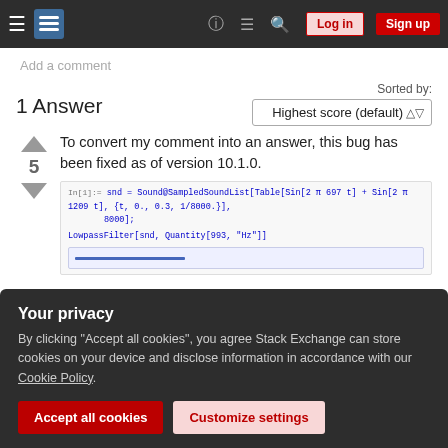Stack Exchange navigation bar with Log in and Sign up buttons
Add a comment
1 Answer
Sorted by: Highest score (default)
To convert my comment into an answer, this bug has been fixed as of version 10.1.0.
[Figure (screenshot): Code block showing Mathematica code: snd = Sound@SampledSoundList[Table[Sin[2 π 697 t] + Sin[2 π 1209 t], {t, 0., 0.3, 1/8000.}], 8000]; LowpassFilter[snd, Quantity[993, 'Hz']] with a blue waveform output]
Your privacy
By clicking "Accept all cookies", you agree Stack Exchange can store cookies on your device and disclose information in accordance with our Cookie Policy.
Accept all cookies
Customize settings